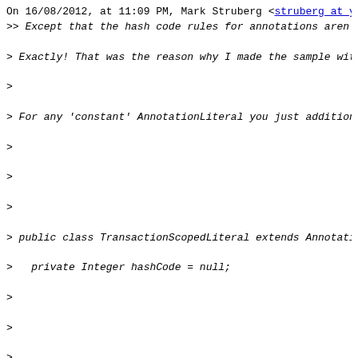On 16/08/2012, at 11:09 PM, Mark Struberg <struberg at ya
>> Except that the hash code rules for annotations aren't
> Exactly! That was the reason why I made the sample with
>
> For any 'constant' AnnotationLiteral you just additiona
>
>
>
> public class TransactionScopedLiteral extends Annotatio
>   private Integer hashCode = null;
>
>
>
>   public int hashCode() {
>     if (hashCode == null) {
>
>       hashCode = super.hashCode();
>     }
>
>     return hashCode;
>   }
>
>
>
>   ...
>
> }
>
>
> we could of course also add a new additional constructo
>